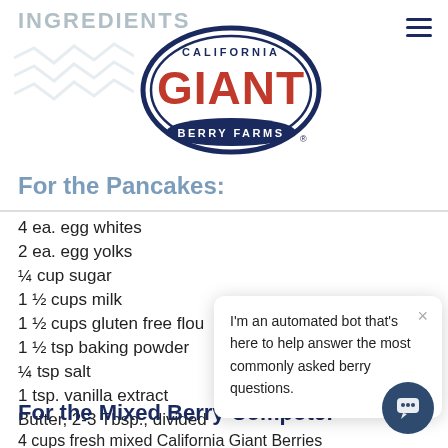INGREDIENTS
[Figure (logo): California Giant Berry Farms logo — oval shape with dark navy border, 'CALIFORNIA' in small letters at top, 'GIANT' in large red letters, 'BERRY FARMS' in white on navy band at bottom]
For the Pancakes:
4 ea. egg whites
2 ea. egg yolks
¼ cup sugar
1 ½ cups milk
1 ½ cups gluten free flou
1 ½ tsp baking powder
¼ tsp salt
1 tsp. vanilla extract
Butter, 2-3 Tbsp., divided
I'm an automated bot that's here to help answer the most commonly asked berry questions.
For the Mixed Berry Compote:
4 cups fresh mixed California Giant Berries